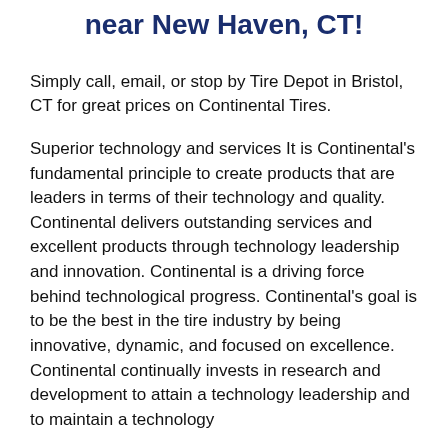near New Haven, CT!
Simply call, email, or stop by Tire Depot in Bristol, CT for great prices on Continental Tires.
Superior technology and services It is Continental's fundamental principle to create products that are leaders in terms of their technology and quality. Continental delivers outstanding services and excellent products through technology leadership and innovation. Continental is a driving force behind technological progress. Continental's goal is to be the best in the tire industry by being innovative, dynamic, and focused on excellence. Continental continually invests in research and development to attain a technology leadership and to maintain a technology